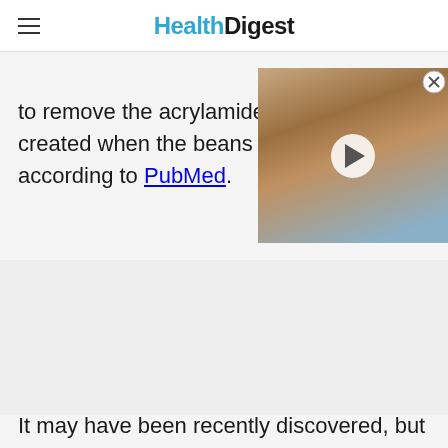HealthDigest
to remove the acrylamide created when the beans according to PubMed.
[Figure (photo): Shirtless muscular man with play button overlay — video thumbnail]
It may have been recently discovered, but